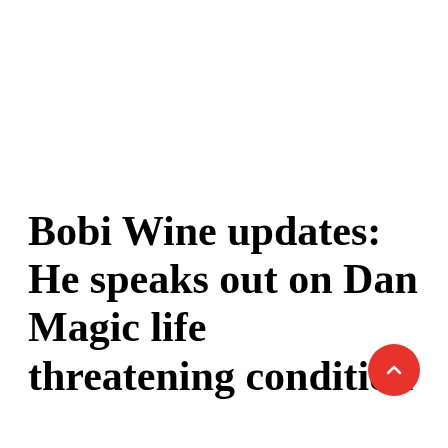Bobi Wine updates: He speaks out on Dan Magic life threatening condition